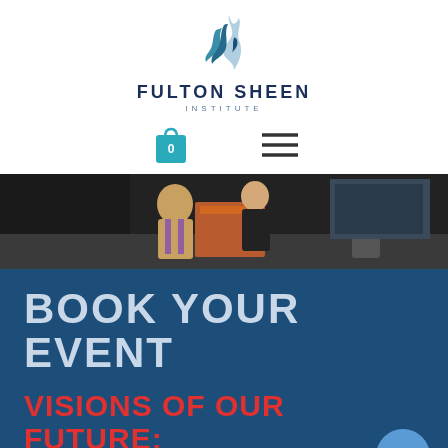[Figure (logo): Fulton Sheen Institute logo with blue flame/wave graphic above text]
[Figure (infographic): Navigation bar with teal shopping bag icon showing 0 and hamburger menu icon]
[Figure (photo): Photo banner showing people on stage at a podium/lectern event]
BOOK YOUR EVENT
VISIONS OF OUR FUTURE: FULTON SHEEN'S